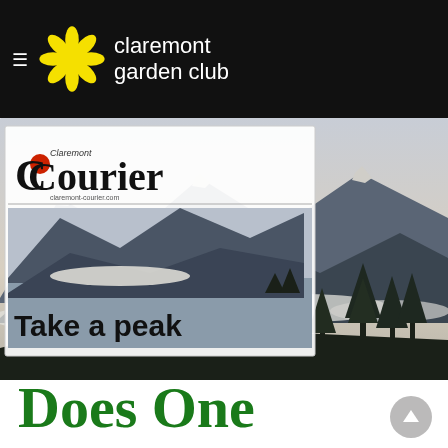claremont garden club
[Figure (photo): A newspaper front page from the Claremont Courier showing a mountain landscape with snow-dusted peaks, clouds, and pine trees. The headline reads 'Take a peak' in bold black text.]
Does One Species